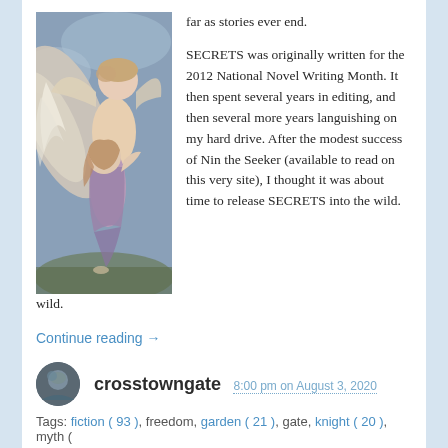far as stories ever end.
[Figure (illustration): Classical painting of a winged figure (Cupid/angel) carrying a woman in a purple/lilac garment through the sky]
SECRETS was originally written for the 2012 National Novel Writing Month. It then spent several years in editing, and then several more years languishing on my hard drive. After the modest success of Nin the Seeker (available to read on this very site), I thought it was about time to release SECRETS into the wild.
Continue reading →
crosstowngate 8:00 pm on August 3, 2020
Tags: fiction ( 93 ), freedom, garden ( 21 ), gate, knight ( 20 ), myth (